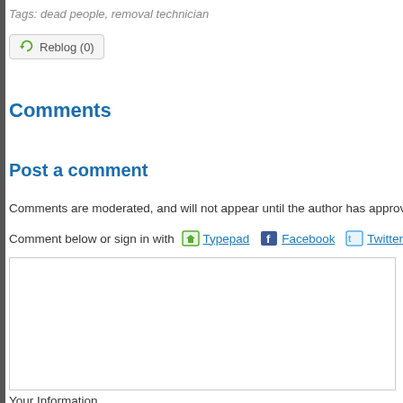Tags: dead people, removal technician
Reblog (0)
Comments
Post a comment
Comments are moderated, and will not appear until the author has approved
Comment below or sign in with Typepad Facebook Twitter and m
Your Information
(Name and email address are required. Email address will not be displayed w